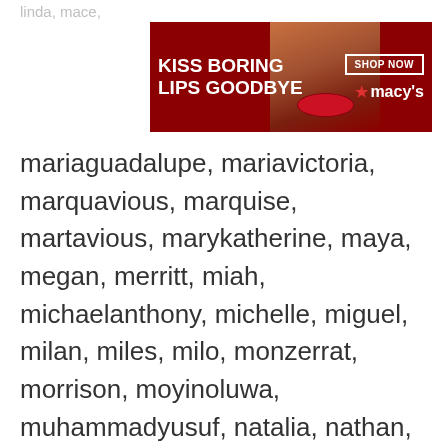linda, mace, [truncated faded names at top]
[Figure (screenshot): Macy's advertisement banner: dark red background with a woman's face, red lips. Text reads 'KISS BORING LIPS GOODBYE' on left and 'SHOP NOW ★ macy's' on right.]
mariaguadalupe, mariavictoria, marquavious, marquise, martavious, marykatherine, maya, megan, merritt, miah, michaelanthony, michelle, miguel, milan, miles, milo, monzerrat, morrison, moyinoluwa, muhammadyusuf, natalia, nathan, neil, nicole, nicolette, nixon, odyssey, ollivander, oluwadamilola, oluwakorede, oluwaseyi, oluwatoniola, oluwatobiloha, oluwatoni, paislee
We use cookies on our website to give you the most relevant experience by remembering your preferences and repeat visits. By clicking “Accept”, you consent to the use of ALL the cookies.
Do not sell my personal information.
[Figure (screenshot): Cookie consent bar with Cookie Settings box (grey), Accept button (green), CLOSE button (grey), and Seamless pizza delivery advertisement at bottom.]
[Figure (screenshot): Seamless food delivery ad: dark background, pizza image on left, 'seamless' brand in red/pink rounded rectangle, 'ORDER NOW' button with white border on right.]